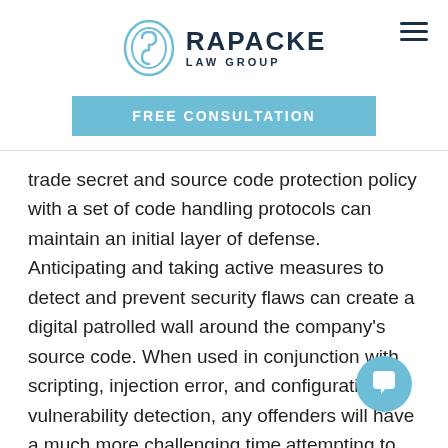RAPACKE LAW GROUP
FREE CONSULTATION
trade secret and source code protection policy with a set of code handling protocols can maintain an initial layer of defense. Anticipating and taking active measures to detect and prevent security flaws can create a digital patrolled wall around the company's source code. When used in conjunction with scripting, injection error, and configuration vulnerability detection, any offenders will have a much more challenging time attempting to misappropriate. Encryption and monitoring can add a layer of near
[Figure (illustration): Chat bubble icon button in bottom right corner]